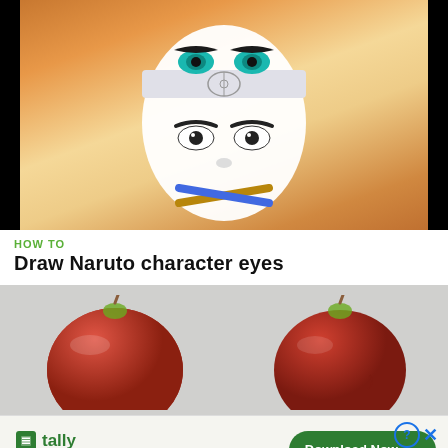[Figure (illustration): Naruto anime character face with white mask/headband, teal eyes on forehead (Sage mode), dark eyes below, on orange/golden background with black borders on sides]
HOW TO
Draw Naruto character eyes
[Figure (photo): Two red apples side by side on a light gray background]
[Figure (infographic): Tally app advertisement banner: Tally logo (green square icon), text 'Fast credit card payoff', green 'Download Now' button with arrow, help (?) and X close buttons]